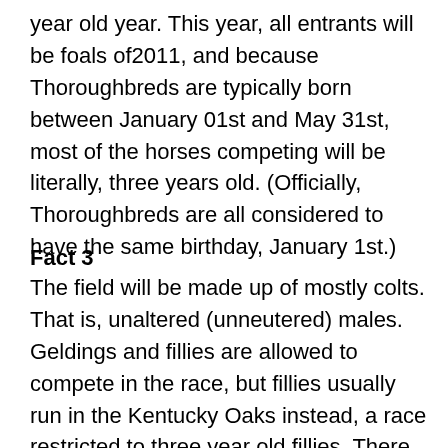year old year. This year, all entrants will be foals of2011, and because Thoroughbreds are typically born between January 01st and May 31st, most of the horses competing will be literally, three years old. (Officially, Thoroughbreds are all considered to have the same birthday, January 1st.)
.
Fact 3
The field will be made up of mostly colts. That is, unaltered (unneutered) males. Geldings and fillies are allowed to compete in the race, but fillies usually run in the Kentucky Oaks instead, a race restricted to three year old fillies. There have only been three fillies and nine geldings to win the Derby. Colts and geldings carry 126 lbs, and fillies carry 121lbs
.